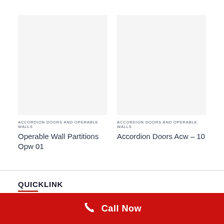ACCORDION DOORS AND OPERABLE WALLS
Operable Wall Partitions Opw 01
ACCORDION DOORS AND OPERABLE WALLS
Accordion Doors Acw – 10
QUICKLINK
About Us
Call Now